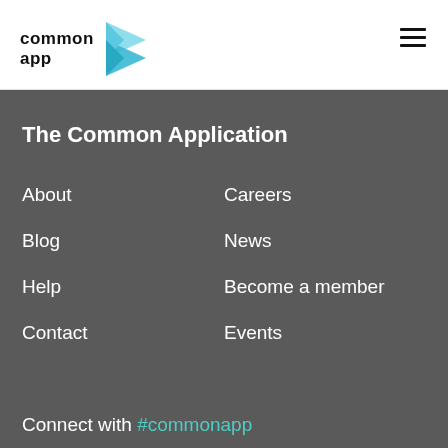[Figure (logo): Common App logo with teal angular bird/wing icon and bold text 'common app']
The Common Application
About
Careers
Blog
News
Help
Become a member
Contact
Events
Connect with #commonapp